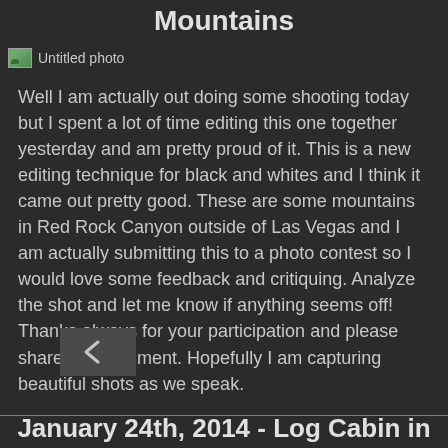Mountains
[Figure (photo): Untitled photo placeholder icon with green landscape image]
Well I am actually out doing some shooting today but I spent a lot of time editing this one together yesterday and am pretty proud of it. This is a new editing technique for black and whites and I think it came out pretty good. These are some mountains in Red Rock Canyon outside of Las Vegas and I am actually submitting this to a photo contest so I would love some feedback and critiquing. Analyze the shot and let me know if anything seems off! Thanks always for your participation and please share and comment. Hopefully I am capturing beautiful shots as we speak.
January 24th, 2014 - Log Cabin in